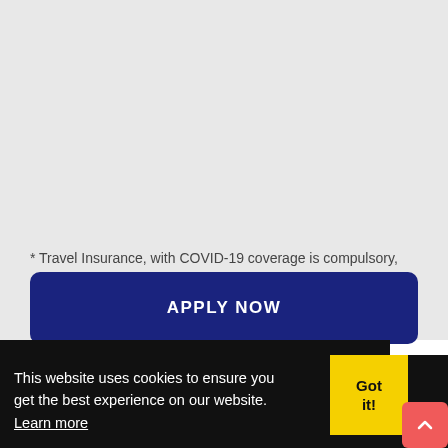* Travel Insurance, with COVID-19 coverage is compulsory, as per the UAE Government . Book the Government approved travel insurance along with your visa t...
APPLY NOW
This website uses cookies to ensure you get the best experience on our website. Learn more
Got it!